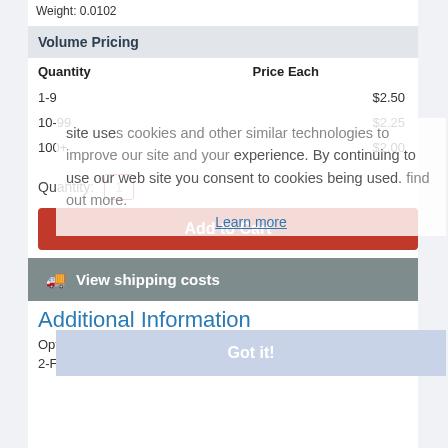Weight: 0.0102
| Quantity | Price Each |
| --- | --- |
| 1-9 | $2.50 |
| 10-99 | $2.25 |
| 100+ | $2.00 |
Quantity: 1
Add to Cart
View shipping costs
site uses cookies and other similar technologies to improve our site and your experience. By continuing to use our web site you consent to cookies being used. find out more.
Learn more
Additional Information
Got it!
OptoMOS Relays
2-Form-A